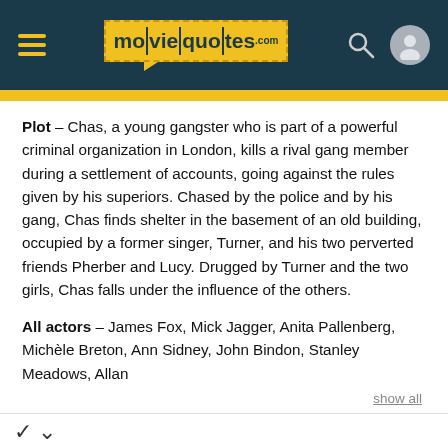moviequotes.com
Plot – Chas, a young gangster who is part of a powerful criminal organization in London, kills a rival gang member during a settlement of accounts, going against the rules given by his superiors. Chased by the police and by his gang, Chas finds shelter in the basement of an old building, occupied by a former singer, Turner, and his two perverted friends Pherber and Lucy. Drugged by Turner and the two girls, Chas falls under the influence of the others.
All actors – James Fox, Mick Jagger, Anita Pallenberg, Michèle Breton, Ann Sidney, John Bindon, Stanley Meadows, Allan
show all
rformance" Quotes